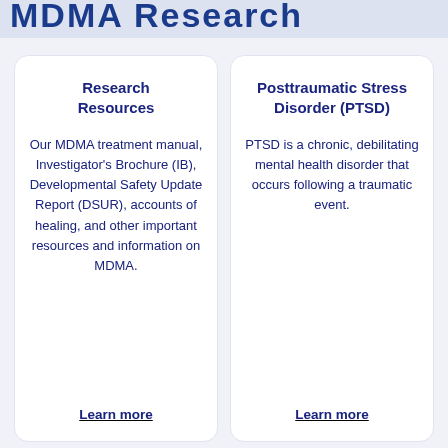Research Resources
Research Resources
Our MDMA treatment manual, Investigator's Brochure (IB), Developmental Safety Update Report (DSUR), accounts of healing, and other important resources and information on MDMA.
Learn more
Posttraumatic Stress Disorder (PTSD)
PTSD is a chronic, debilitating mental health disorder that occurs following a traumatic event.
Learn more